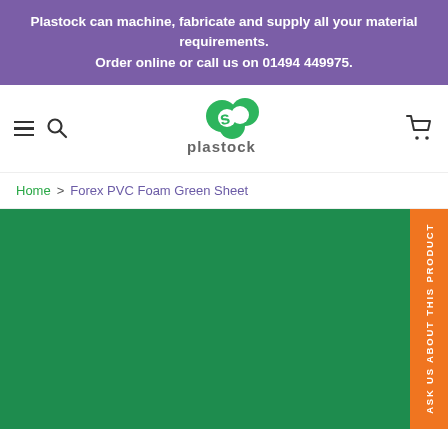Plastock can machine, fabricate and supply all your material requirements. Order online or call us on 01494 449975.
[Figure (logo): Plastock logo with green cloud/bubble icon and 'plastock' text in gray]
Home > Forex PVC Foam Green Sheet
[Figure (photo): Solid green Forex PVC Foam sheet product image with orange 'ASK US ABOUT THIS PRODUCT' side tab]